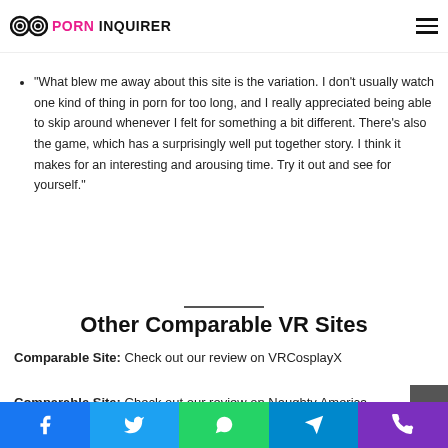PORN INQUIRER
“What blew me away about this site is the variation. I don’t usually watch one kind of thing in porn for too long, and I really appreciated being able to skip around whenever I felt for something a bit different. There’s also the game, which has a surprisingly well put together story. I think it makes for an interesting and arousing time. Try it out and see for yourself.”
Other Comparable VR Sites
Comparable Site: Check out our review on VRCosplayX
Comparable Site: Check out our review on Naughty America VR